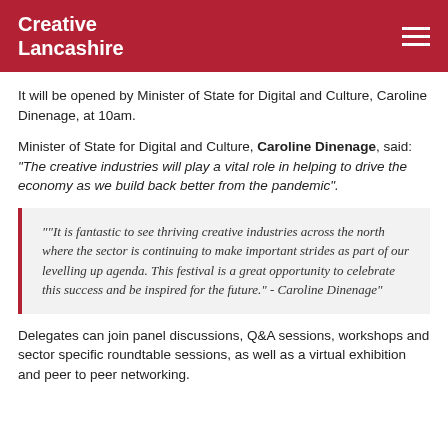Creative Lancashire
It will be opened by Minister of State for Digital and Culture, Caroline Dinenage, at 10am.
Minister of State for Digital and Culture, Caroline Dinenage, said: "The creative industries will play a vital role in helping to drive the economy as we build back better from the pandemic".
""It is fantastic to see thriving creative industries across the north where the sector is continuing to make important strides as part of our levelling up agenda. This festival is a great opportunity to celebrate this success and be inspired for the future." - Caroline Dinenage"
Delegates can join panel discussions, Q&A sessions, workshops and sector specific roundtable sessions, as well as a virtual exhibition and peer to peer networking.